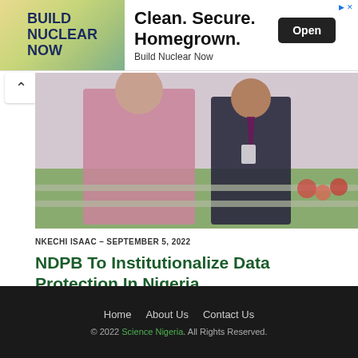[Figure (photo): Advertisement banner: Build Nuclear Now — Clean. Secure. Homegrown. with Open button]
[Figure (photo): Photo of two men outdoors, one in traditional Nigerian attire and one in a dark suit with ID badge, beside metal railings and flowers]
NKECHI ISAAC – SEPTEMBER 5, 2022
NDPB To Institutionalize Data Protection In Nigeria
LOAD MORE
Home   About Us   Contact Us
© 2022 Science Nigeria. All Rights Reserved.